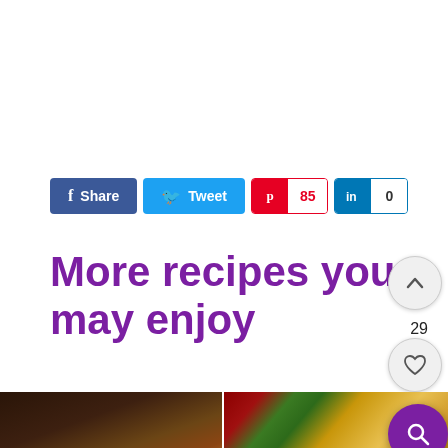[Figure (screenshot): Social sharing buttons: Facebook Share, Twitter Tweet, Pinterest with count 85, LinkedIn with count 0]
More recipes you may enjoy
[Figure (photo): Two food photos side by side: left shows a bowl of mixed bean and vegetable curry with cilantro garnish; right shows a bowl of yellow dal/lentil curry with dried red chilies and green leaves]